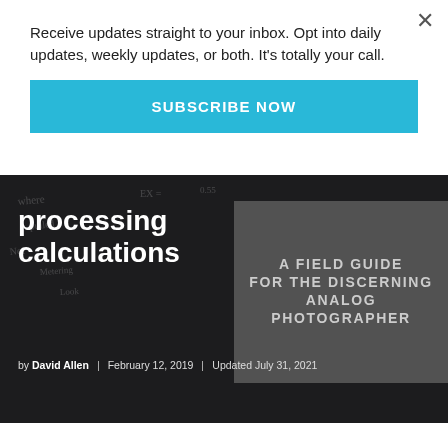Receive updates straight to your inbox. Opt into daily updates, weekly updates, or both. It's totally your call.
SUBSCRIBE NOW
[Figure (photo): Dark background hero image showing faint chalk/handwriting on a blackboard, with white bold text 'processing calculations' as article title, and a gray overlay box on the right showing 'A FIELD GUIDE FOR THE DISCERNING ANALOG PHOTOGRAPHER'. Below the title: by David Allen | February 12, 2019 | Updated July 31, 2021]
processing calculations
by David Allen   February 12, 2019   Updated July 31, 2021